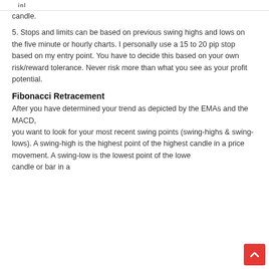inl
candle.
5. Stops and limits can be based on previous swing highs and lows on the five minute or hourly charts. I personally use a 15 to 20 pip stop based on my entry point. You have to decide this based on your own risk/reward tolerance. Never risk more than what you see as your profit potential.
Fibonacci Retracement
After you have determined your trend as depicted by the EMAs and the MACD, you want to look for your most recent swing points (swing-highs & swing-lows). A swing-high is the highest point of the highest candle in a price movement. A swing-low is the lowest point of the lowest candle or bar in a